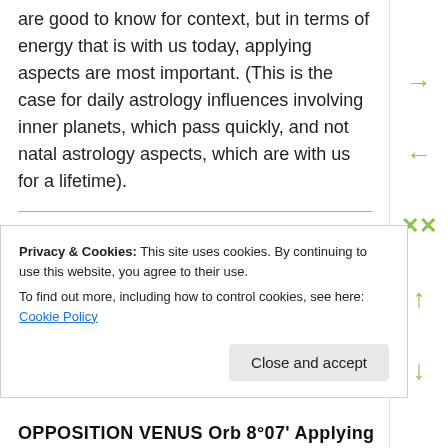are good to know for context, but in terms of energy that is with us today, applying aspects are most important. (This is the case for daily astrology influences involving inner planets, which pass quickly, and not natal astrology aspects, which are with us for a lifetime).
THE MOON
THE MOON IN CANCER
You need nurturing. Under stress you may want to
Privacy & Cookies: This site uses cookies. By continuing to use this website, you agree to their use.
To find out more, including how to control cookies, see here: Cookie Policy
OPPOSITION VENUS Orb 8°07' Applying